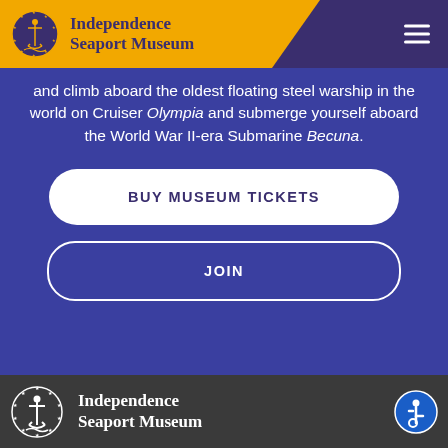Independence Seaport Museum
and climb aboard the oldest floating steel warship in the world on Cruiser Olympia and submerge yourself aboard the World War II-era Submarine Becuna.
BUY MUSEUM TICKETS
JOIN
[Figure (logo): Independence Seaport Museum logo with anchor and stars, white on dark background, in footer]